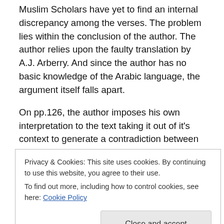Muslim Scholars have yet to find an internal discrepancy among the verses. The problem lies within the conclusion of the author. The author relies upon the faulty translation by A.J. Arberry. And since the author has no basic knowledge of the Arabic language, the argument itself falls apart.
On pp.126, the author imposes his own interpretation to the text taking it out of it's context to generate a contradiction between the narratives in Quran 6:107-109, 53:19-23 and 71:22-24. If only the author had checked
Privacy & Cookies: This site uses cookies. By continuing to use this website, you agree to their use.
To find out more, including how to control cookies, see here: Cookie Policy
Close and accept
another contradiction and writes: